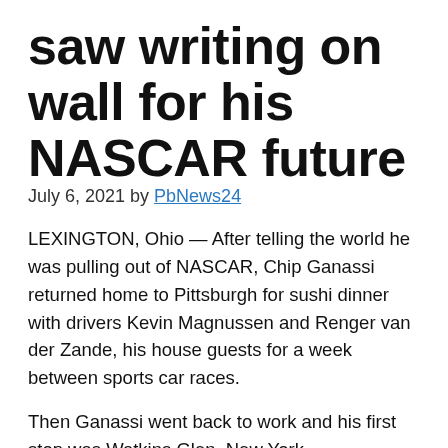saw writing on wall for his NASCAR future
July 6, 2021 by PbNews24
LEXINGTON, Ohio — After telling the world he was pulling out of NASCAR, Chip Ganassi returned home to Pittsburgh for sushi dinner with drivers Kevin Magnussen and Renger van der Zande, his house guests for a week between sports car races.
Then Ganassi went back to work and his first stop was Watkins Glen, New York.